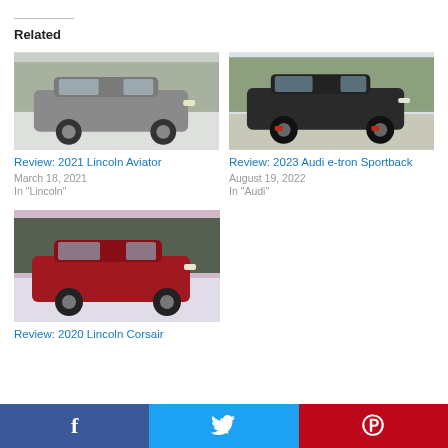Related
[Figure (photo): Gray Lincoln Aviator SUV parked on snow with bare trees in background]
Review: 2021 Lincoln Aviator
March 18, 2021
In "Lincoln"
[Figure (photo): Black Audi e-tron Sportback SUV parked outdoors with evergreen trees in background]
Review: 2023 Audi e-tron Sportback
August 19, 2022
In "Audi"
[Figure (photo): Red Lincoln Corsair SUV parked on snow with trees in background at dusk]
Review: 2020 Lincoln Corsair